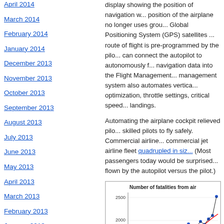April 2014
March 2014
February 2014
January 2014
December 2013
November 2013
October 2013
September 2013
August 2013
July 2013
June 2013
May 2013
April 2013
March 2013
February 2013
January 2013
December 2012
display showing the position of navigation w... position of the airplane no longer uses grou... Global Positioning System (GPS) satellites ... route of flight is pre-programmed by the pilo... can connect the autopilot to autonomously f... navigation data into the Flight Management... management system also automates vertica... optimization, throttle settings, critical speed... landings.
Automating the airplane cockpit relieved pilo... skilled pilots to fly safely. Commercial airline... commercial jet airline fleet quadrupled in siz... (Most passengers today would be surprised... flown by the autopilot versus the pilot.)
[Figure (line-chart): Line chart showing number of fatalities from air accidents over time, with blue dots for individual data points and a red trend line. Y-axis shows values from approximately 1500 to 2500.]